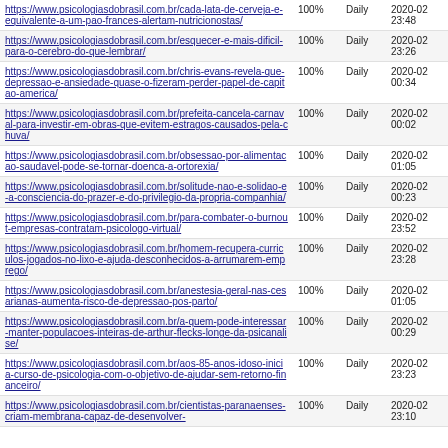| URL | Priority | Change Freq | Last Modified |
| --- | --- | --- | --- |
| https://www.psicologiasdobrasil.com.br/cada-lata-de-cerveja-e-equivalente-a-um-pao-frances-alertam-nutricionostas/ | 100% | Daily | 2020-02 23:48 |
| https://www.psicologiasdobrasil.com.br/esquecer-e-mais-dificil-para-o-cerebro-do-que-lembrar/ | 100% | Daily | 2020-02 23:26 |
| https://www.psicologiasdobrasil.com.br/chris-evans-revela-que-depressao-e-ansiedade-quase-o-fizeram-perder-papel-de-capitao-america/ | 100% | Daily | 2020-02 00:34 |
| https://www.psicologiasdobrasil.com.br/prefeita-cancela-carnaval-para-investir-em-obras-que-evitem-estragos-causados-pela-chuva/ | 100% | Daily | 2020-02 00:02 |
| https://www.psicologiasdobrasil.com.br/obsessao-por-alimentacao-saudavel-pode-se-tornar-doenca-a-ortorexia/ | 100% | Daily | 2020-02 01:05 |
| https://www.psicologiasdobrasil.com.br/solitude-nao-e-solidao-e-a-consciencia-do-prazer-e-do-privilegio-da-propria-companhia/ | 100% | Daily | 2020-02 00:23 |
| https://www.psicologiasdobrasil.com.br/para-combater-o-burnout-empresas-contratam-psicologo-virtual/ | 100% | Daily | 2020-02 23:52 |
| https://www.psicologiasdobrasil.com.br/homem-recupera-curriculos-jogados-no-lixo-e-ajuda-desconhecidos-a-arrumarem-emprego/ | 100% | Daily | 2020-02 23:28 |
| https://www.psicologiasdobrasil.com.br/anestesia-geral-nas-cesarianas-aumenta-risco-de-depressao-pos-parto/ | 100% | Daily | 2020-02 01:05 |
| https://www.psicologiasdobrasil.com.br/a-quem-pode-interessar-manter-populacoes-inteiras-de-arthur-flecks-longe-da-psicanalise/ | 100% | Daily | 2020-02 00:29 |
| https://www.psicologiasdobrasil.com.br/aos-85-anos-idoso-inicia-curso-de-psicologia-com-o-objetivo-de-ajudar-sem-retorno-financeiro/ | 100% | Daily | 2020-02 23:23 |
| https://www.psicologiasdobrasil.com.br/cientistas-paranaenses-criam-membrana-capaz-de-desenvolver- | 100% | Daily | 2020-02 23:10 |